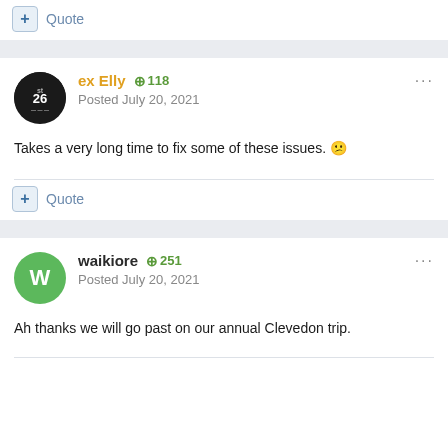+ Quote
ex Elly +118
Posted July 20, 2021
Takes a very long time to fix some of these issues. 😕
+ Quote
waikiore +251
Posted July 20, 2021
Ah thanks we will go past on our annual Clevedon trip.